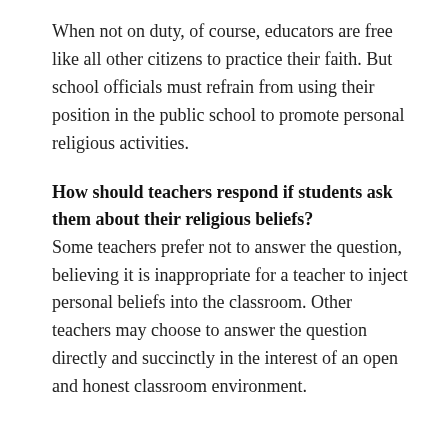When not on duty, of course, educators are free like all other citizens to practice their faith. But school officials must refrain from using their position in the public school to promote personal religious activities.
How should teachers respond if students ask them about their religious beliefs?
Some teachers prefer not to answer the question, believing it is inappropriate for a teacher to inject personal beliefs into the classroom. Other teachers may choose to answer the question directly and succinctly in the interest of an open and honest classroom environment.